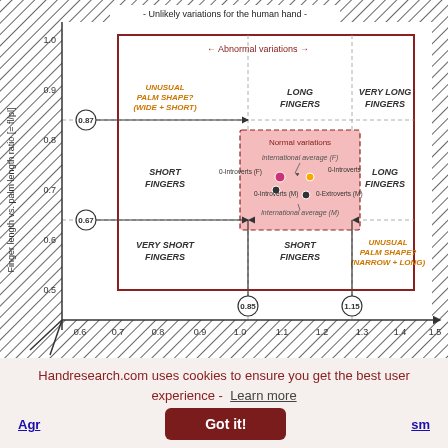[Figure (scatter-plot): A scatter plot showing finger length vs palm length ratio with zones labeled: Unusual Palm Shape (Wide+Short), Long Fingers, Very Long Fingers, Short Fingers, Long Fingers, Very Short Fingers, Short Fingers, Unusual Palm Shape (Narrow+Long). A shaded normal variations region is shown with data points for International average (F), International average (M), 0-Introverts (F/M) and 0-Extroverts (F/M). Threshold markers at 0.87, 0.67 on y-axis and 0.85, 1.15 on x-axis. Outer hatched region labeled Unlikely variations for the human hand.]
Handresearch.com uses cookies to ensure you get the best user experience - Learn more
Got it!